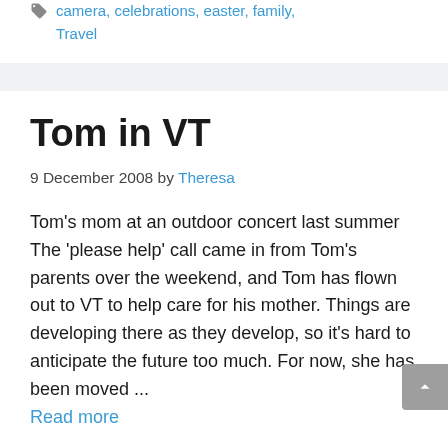camera, celebrations, easter, family, Travel
Tom in VT
9 December 2008 by Theresa
Tom’s mom at an outdoor concert last summer The ‘please help’ call came in from Tom’s parents over the weekend, and Tom has flown out to VT to help care for his mother. Things are developing there as they develop, so it’s hard to anticipate the future too much. For now, she has been moved ...
Read more